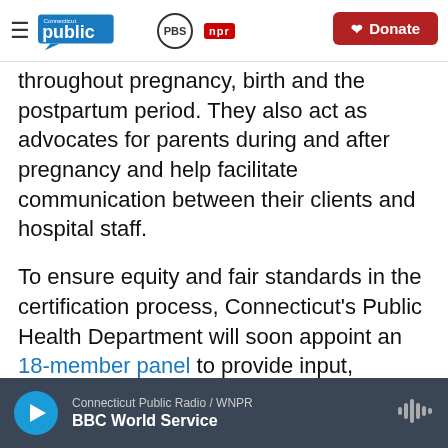Connecticut Public PBS NPR | Donate
throughout pregnancy, birth and the postpartum period. They also act as advocates for parents during and after pregnancy and help facilitate communication between their clients and hospital staff.
To ensure equity and fair standards in the certification process, Connecticut's Public Health Department will soon appoint an 18-member panel to provide input, including recommendations for training, experience and continued education, as well as standards for supervision, training that i...
Connecticut Public Radio / WNPR | BBC World Service